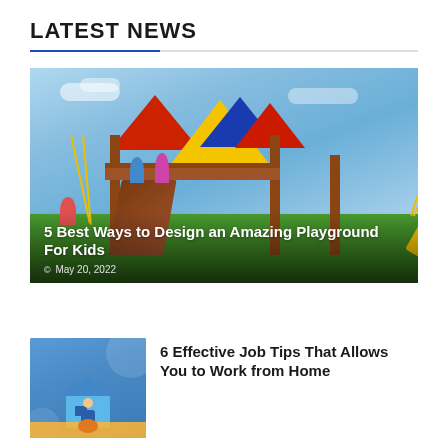LATEST NEWS
[Figure (photo): Children playing on a colorful wooden playground set with red, yellow, and blue canopies, a yellow slide, and swings, against a blue sky background]
5 Best Ways to Design an Amazing Playground For Kids
© May 20, 2022
[Figure (illustration): Work from home illustration showing a person inside a house on a blue background]
6 Effective Job Tips That Allows You to Work from Home